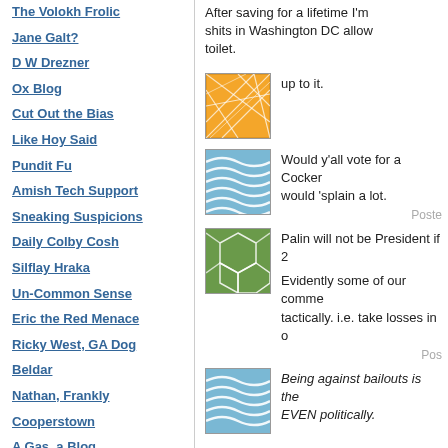The Volokh Frolic
Jane Galt?
D W Drezner
Ox Blog
Cut Out the Bias
Like Hoy Said
Pundit Fu
Amish Tech Support
Sneaking Suspicions
Daily Colby Cosh
Silflay Hraka
Un-Common Sense
Eric the Red Menace
Ricky West, GA Dog
Beldar
Nathan, Frankly
Cooperstown
A Gas, a Blog
After saving for a lifetime I'm shits in Washington DC allow toilet.
[Figure (illustration): Orange square icon with white geometric line pattern (web/net design)]
up to it.
[Figure (illustration): Blue square icon with wave/ripple pattern]
Would y'all vote for a Cocker would 'splain a lot.
Posted
[Figure (illustration): Green square icon with hexagonal/cellular pattern]
Palin will not be President if 2
Evidently some of our comme tactically. i.e. take losses in o
Posted
[Figure (illustration): Blue square icon with wave/ripple pattern]
Being against bailouts is the EVEN politically.